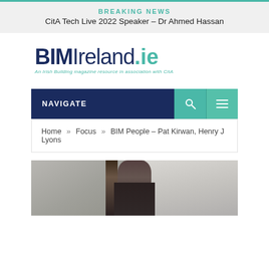BREAKING NEWS
CitA Tech Live 2022 Speaker – Dr Ahmed Hassan
[Figure (logo): BIMIreland.ie logo — 'BIM' in bold dark navy, 'Ireland' in light navy, '.ie' in teal, with tagline 'An Irish Building magazine resource in association with CitA']
NAVIGATE
Home » Focus » BIM People – Pat Kirwan, Henry J Lyons
[Figure (photo): Photograph of a man standing outdoors near a stone wall, wearing a dark jacket]